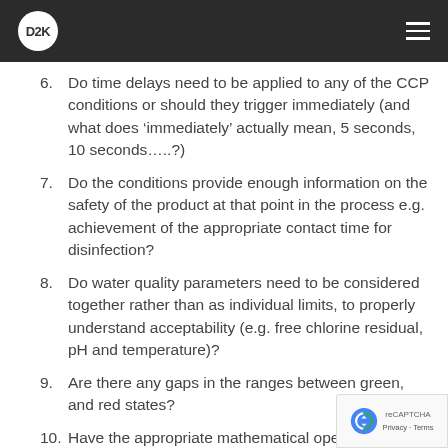D2K
6. Do time delays need to be applied to any of the CCP conditions or should they trigger immediately (and what does ‘immediately’ actually mean, 5 seconds, 10 seconds…..?)
7. Do the conditions provide enough information on the safety of the product at that point in the process e.g. achievement of the appropriate contact time for disinfection?
8. Do water quality parameters need to be considered together rather than as individual limits, to properly understand acceptability (e.g. free chlorine residual, pH and temperature)?
9. Are there any gaps in the ranges between green, and red states?
10. Have the appropriate mathematical operators been